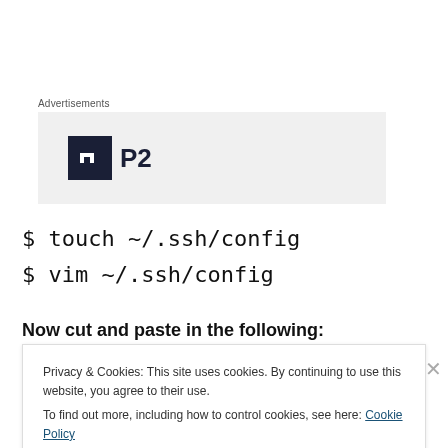Advertisements
[Figure (logo): P2 logo with dark square icon containing a white rectangle cutout and bold P2 text]
$ touch ~/.ssh/config
$ vim ~/.ssh/config
Now cut and paste in the following:
Privacy & Cookies: This site uses cookies. By continuing to use this website, you agree to their use.
To find out more, including how to control cookies, see here: Cookie Policy